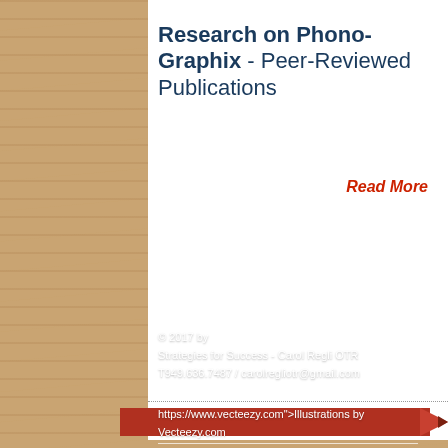Research on Phono-Graphix - Peer-Reviewed Publications
Read More
[Figure (illustration): Facebook 'f' logo icon in white on wood-textured background]
© 2017 by Strategies for Success - Carol Regli OTR T949.636.7487 / carolregliotr@gmail.com
https://www.vecteezy.com">Illustrations by Vecteezy.com